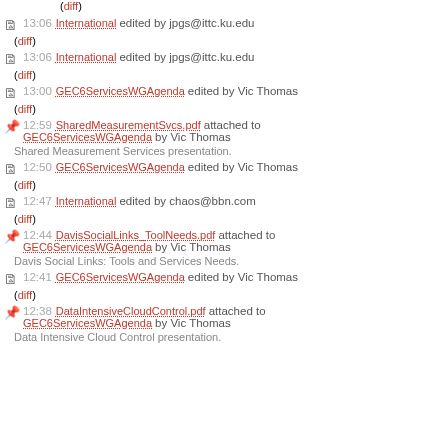(diff)
13:06 International edited by jpgs@ittc.ku.edu (diff)
13:06 International edited by jpgs@ittc.ku.edu (diff)
13:00 GEC6ServicesWGAgenda edited by Vic Thomas (diff)
12:59 SharedMeasurementSvcs.pdf attached to GEC6ServicesWGAgenda by Vic Thomas
Shared Measurement Services presentation.
12:50 GEC6ServicesWGAgenda edited by Vic Thomas (diff)
12:47 International edited by chaos@bbn.com (diff)
12:44 DavisSocialLinks_ToolNeeds.pdf attached to GEC6ServicesWGAgenda by Vic Thomas
Davis Social Links: Tools and Services Needs.
12:41 GEC6ServicesWGAgenda edited by Vic Thomas (diff)
12:38 DataIntensiveCloudControl.pdf attached to GEC6ServicesWGAgenda by Vic Thomas
Data Intensive Cloud Control presentation.